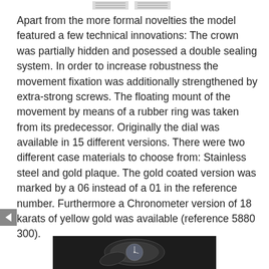[navigation/logo images]
Apart from the more formal novelties the model featured a few technical innovations: The crown was partially hidden and posessed a double sealing system. In order to increase robustness the movement fixation was additionally strengthened by extra-strong screws. The floating mount of the movement by means of a rubber ring was taken from its predecessor. Originally the dial was available in 15 different versions. There were two different case materials to choose from: Stainless steel and gold plaque. The gold coated version was marked by a 06 instead of a 01 in the reference number. Furthermore a Chronometer version of 18 karats of yellow gold was available (reference 5880 300).
[Figure (photo): Photograph of an open pocket watch or similar timepiece against a dark background, showing the watch face and movement]